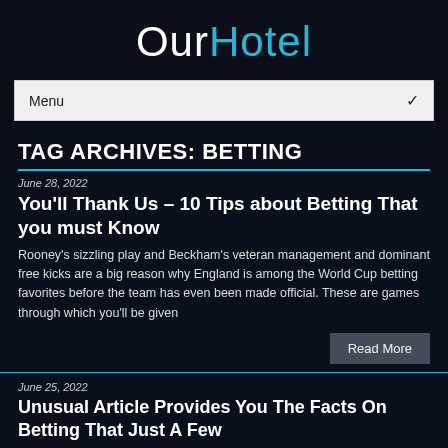OurHotel
Menu
TAG ARCHIVES: BETTING
June 28, 2022
You'll Thank Us – 10 Tips about Betting That you must Know
Rooney's sizzling play and Beckham's veteran management and dominant free kicks are a big reason why England is among the World Cup betting favorites before the team has even been made official. These are games through which you'll be given
Read More
June 25, 2022
Unusual Article Provides You The Facts On Betting That Just A Few